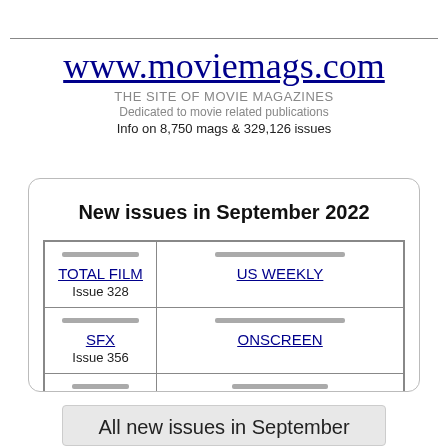www.moviemags.com
THE SITE OF MOVIE MAGAZINES
Dedicated to movie related publications
Info on 8,750 mags & 329,126 issues
New issues in September 2022
| TOTAL FILM
Issue 328 | US WEEKLY |
| SFX
Issue 356 | ONSCREEN |
| DIE LINSE | GENTLEMENS QUARTERLY |
All new issues in September